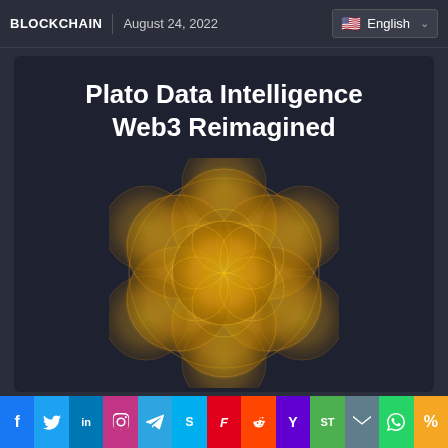BLOCKCHAIN | August 24, 2022 | English
Plato Data Intelligence Web3 Reimagined
[Figure (logo): Plato Data Intelligence logo: a golden flower-of-life sacred geometry mandala pattern with overlapping circles on a dark navy background]
Social share bar: Facebook, Twitter, LinkedIn, Instagram, Telegram, Skype, Flipboard, Reddit, Yahoo, SocialTools, Email, WhatsApp, Copy